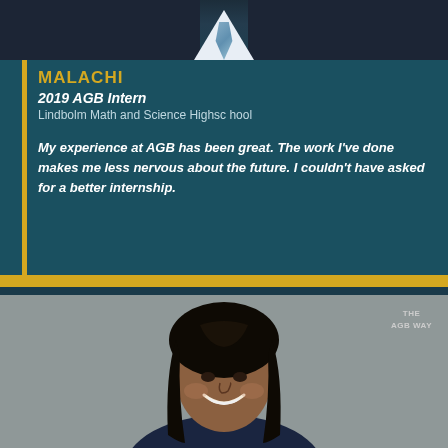[Figure (photo): Partial view of a person in a dark suit with a light blue tie, visible from chest up, cropped at top of page]
MALACHI
2019 AGB Intern
Lindbolm Math and Science Highsc hool
My experience at AGB has been great. The work I've done makes me less nervous about the future. I couldn't have asked for a better internship.
[Figure (photo): Smiling young woman with long black straight hair, wearing a dark blazer, professional headshot on gray background]
THE
AGB WAY